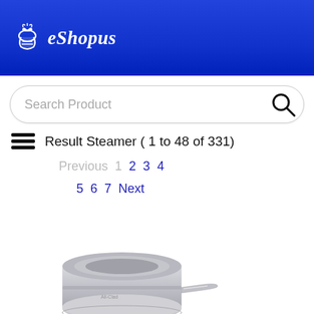eShopus
Search Product
Result Steamer ( 1 to 48 of 331)
Previous  1  2  3  4  5  6  7  Next
[Figure (photo): Stainless steel steamer insert pan with long handle, viewed from above at an angle, showing the shallow round pot with perforated insert.]